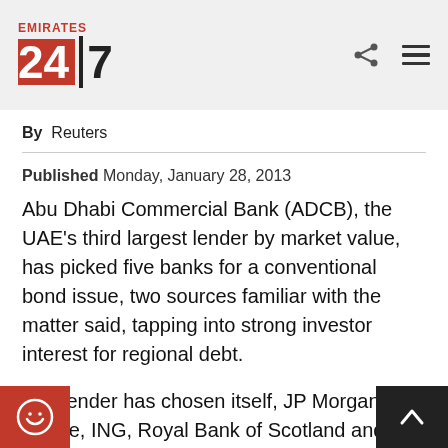Emirates 24|7
By Reuters
Published Monday, January 28, 2013
Abu Dhabi Commercial Bank (ADCB), the UAE's third largest lender by market value, has picked five banks for a conventional bond issue, two sources familiar with the matter said, tapping into strong investor interest for regional debt.
The lender has chosen itself, JP Morgan Chase, ING, Royal Bank of Scotland and Standard Chartered to arrange the offering, the sources said on Monday, speaking on condition of anonymity because the information is not public.